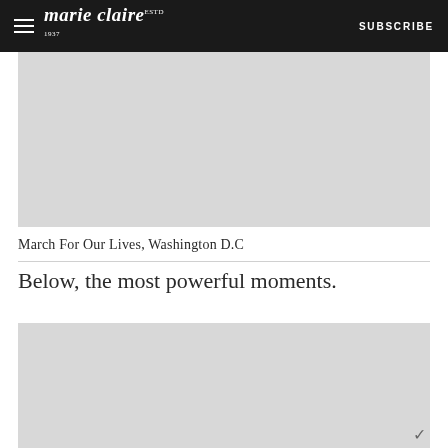marie claire SUBSCRIBE
[Figure (photo): Photo placeholder - March For Our Lives, Washington D.C]
March For Our Lives, Washington D.C
Below, the most powerful moments.
[Figure (photo): Photo placeholder - March For Our Lives event]